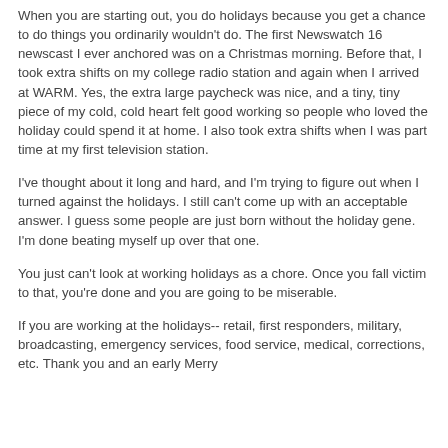When you are starting out, you do holidays because you get a chance to do things you ordinarily wouldn't do.  The first Newswatch 16 newscast I ever anchored was on a Christmas morning.  Before that, I took extra shifts on my college radio station and again when I arrived at WARM.  Yes, the extra large paycheck was nice, and a tiny, tiny piece of my cold, cold heart felt good working so people who loved the holiday could spend it at home.  I also took extra shifts when I was part time at my first television station.
I've thought about it long and hard, and I'm trying to figure out when I turned against the holidays.  I still can't come up with an acceptable answer.  I guess some people are just born without the holiday gene.  I'm done beating myself up over that one.
You just can't look at working holidays as a chore.  Once you fall victim to that, you're done and you are going to be miserable.
If you are working at the holidays-- retail, first responders, military, broadcasting, emergency services, food service, medical, corrections, etc.   Thank you and an early Merry